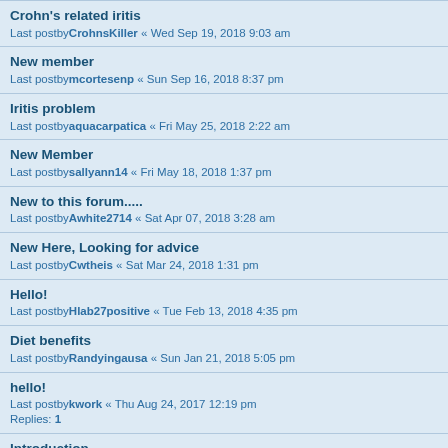Crohn's related iritis
Last postbyCrohnsKiller « Wed Sep 19, 2018 9:03 am
New member
Last postbymcortesenp « Sun Sep 16, 2018 8:37 pm
Iritis problem
Last postbyaquacarpatica « Fri May 25, 2018 2:22 am
New Member
Last postbysallyann14 « Fri May 18, 2018 1:37 pm
New to this forum.....
Last postbyAwhite2714 « Sat Apr 07, 2018 3:28 am
New Here, Looking for advice
Last postbyCwtheis « Sat Mar 24, 2018 1:31 pm
Hello!
Last postbyHlab27positive « Tue Feb 13, 2018 4:35 pm
Diet benefits
Last postbyRandyingausa « Sun Jan 21, 2018 5:05 pm
hello!
Last postbykwork « Thu Aug 24, 2017 12:19 pm
Replies: 1
Introduction
Last postbyBPS23518 « Mon Aug 21, 2017 12:45 pm